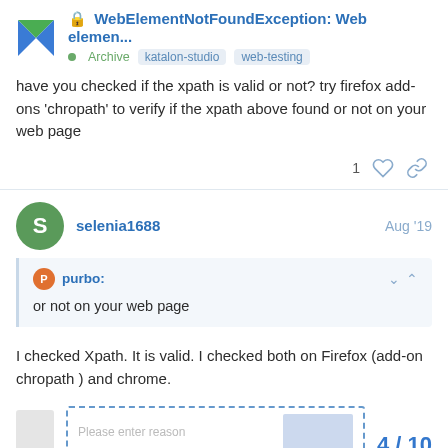🔒 WebElementNotFoundException: Web elemen... • Archive katalon-studio web-testing
have you checked if the xpath is valid or not? try firefox add-ons 'chropath' to verify if the xpath above found or not on your web page
selenia1688 Aug '19
purbo: or not on your web page
I checked Xpath. It is valid. I checked both on Firefox (add-on chropath ) and chrome.
[Figure (screenshot): Partial UI showing a dashed-border input box with placeholder 'Please enter reason', a light blue box, and pagination showing 4/10]